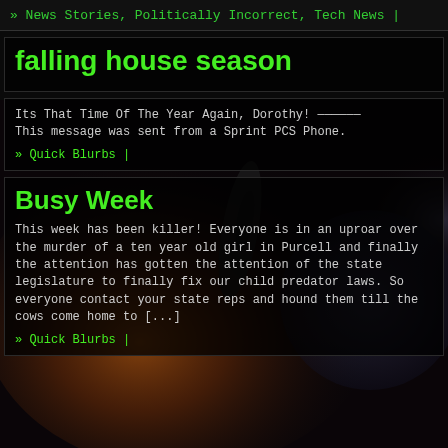» News Stories, Politically Incorrect, Tech News |
falling house season
Its That Time Of The Year Again, Dorothy! ——————
This message was sent from a Sprint PCS Phone.
» Quick Blurbs |
Busy Week
This week has been killer! Everyone is in an uproar over the murder of a ten year old girl in Purcell and finally the attention has gotten the attention of the state legislature to finally fix our child predator laws. So everyone contact your state reps and hound them till the cows come home to [...]
» Quick Blurbs |